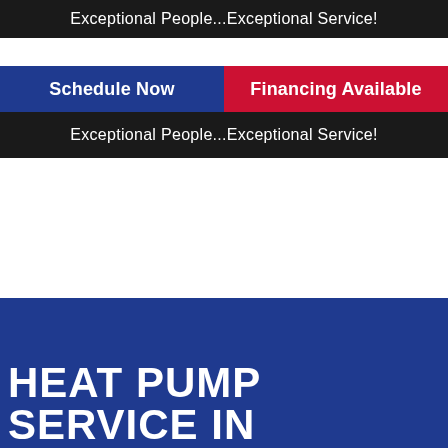Exceptional People...Exceptional Service!
Schedule Now
Financing Available
Exceptional People...Exceptional Service!
HEAT PUMP SERVICE IN